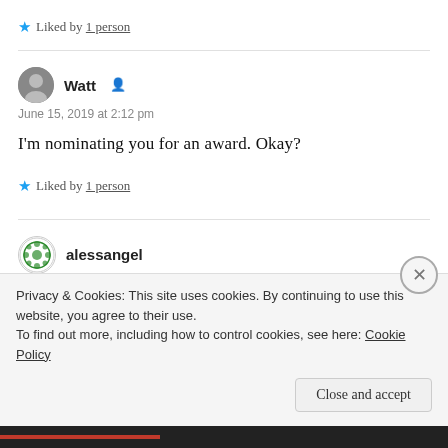★ Liked by 1 person
Watt
June 15, 2019 at 2:12 pm
I'm nominating you for an award. Okay?
★ Liked by 1 person
alessangel
June 17, 2019 at 9:34 pm
Privacy & Cookies: This site uses cookies. By continuing to use this website, you agree to their use. To find out more, including how to control cookies, see here: Cookie Policy
Close and accept